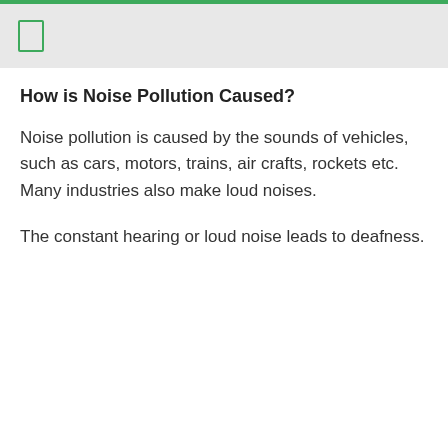How is Noise Pollution Caused?
Noise pollution is caused by the sounds of vehicles, such as cars, motors, trains, air crafts, rockets etc. Many industries also make loud noises.
The constant hearing or loud noise leads to deafness.